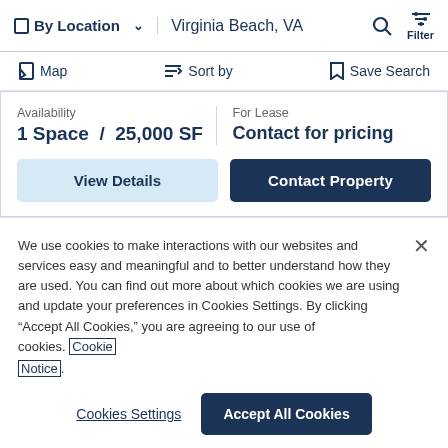By Location   Virginia Beach, VA   Filter
Map   Sort by   Save Search
Availability
1 Space / 25,000 SF
For Lease
Contact for pricing
View Details   Contact Property
We use cookies to make interactions with our websites and services easy and meaningful and to better understand how they are used. You can find out more about which cookies we are using and update your preferences in Cookies Settings. By clicking “Accept All Cookies,” you are agreeing to our use of cookies. Cookie Notice.
Cookies Settings   Accept All Cookies